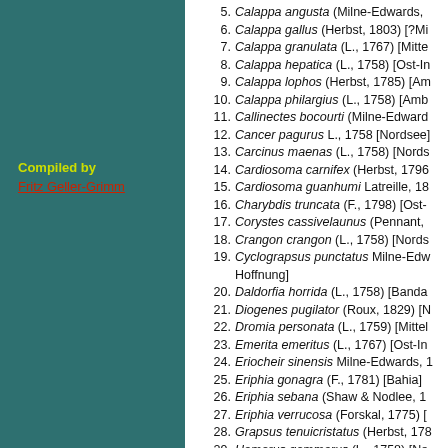Compiled by
Fritz Geller-Grimm
5. Calappa angusta (Milne-Edwards,
6. Calappa gallus (Herbst, 1803) [?Mi
7. Calappa granulata (L., 1767) [Mitte
8. Calappa hepatica (L., 1758) [Ost-In
9. Calappa lophos (Herbst, 1785) [Am
10. Calappa philargius (L., 1758) [Amb
11. Callinectes bocourti (Milne-Edward
12. Cancer pagurus L., 1758 [Nordsee]
13. Carcinus maenas (L., 1758) [Nords
14. Cardiosoma carnifex (Herbst, 1796
15. Cardiosoma guanhumi Latreille, 18
16. Charybdis truncata (F., 1798) [Ost-
17. Corystes cassivelaunus (Pennant,
18. Crangon crangon (L., 1758) [Nords
19. Cyclograpsus punctatus Milne-Edw Hoffnung]
20. Daldorfia horrida (L., 1758) [Banda
21. Diogenes pugilator (Roux, 1829) [N
22. Dromia personata (L., 1759) [Mittel
23. Emerita emeritus (L., 1767) [Ost-In
24. Eriocheir sinensis Milne-Edwards, 1
25. Eriphia gonagra (F., 1781) [Bahia]
26. Eriphia sebana (Shaw & Nodlee, 1
27. Eriphia verrucosa (Forskal, 1775) [
28. Grapsus tenuicristatus (Herbst, 178
29. Homarus gammarus (L., 1758) [No
30. Hyas araneus (L., 1758) [Nordsee]
31. Jasus lalandii (Milene-Edwards, 18
32. Johngarthia weileri (Sendler, 1912)
33. Leucosia cf. unidentata (De Haan